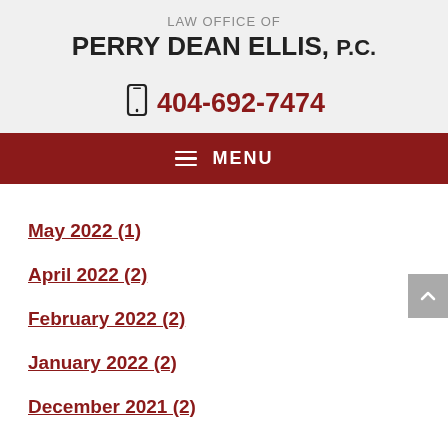LAW OFFICE OF
PERRY DEAN ELLIS, P.C.
404-692-7474
MENU
May 2022 (1)
April 2022 (2)
February 2022 (2)
January 2022 (2)
December 2021 (2)